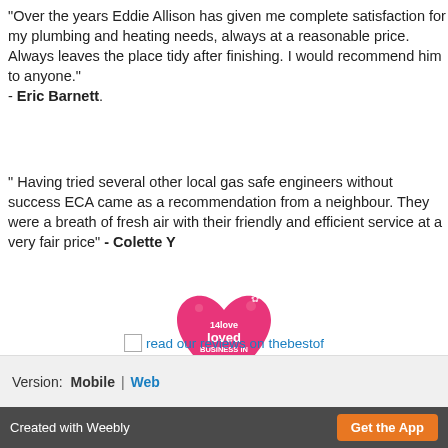"Over the years Eddie Allison has given me complete satisfaction for my plumbing and heating needs, always at a reasonable price. Always leaves the place tidy after finishing. I would recommend him to anyone." - Eric Barnett.
" Having tried several other local gas safe engineers without success ECA came as a recommendation from a neighbour. They were a breath of fresh air with their friendly and efficient service at a very fair price" - Colette Y
[Figure (logo): Pink heart-shaped badge with text: 14love loved BUSINESS IN CATEGORY AS VOTED FOR BY LOCAL PEOPLE 2013 thebestof]
read our reviews on thebestof
Version: Mobile | Web
Created with Weebly  Get the App